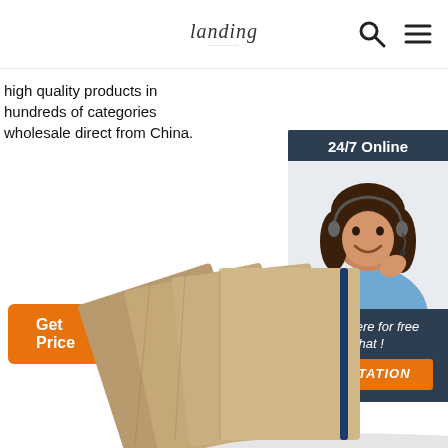landing
high quality products in hundreds of categories wholesale direct from China.
Get Price
[Figure (photo): Customer service representative with headset, 24/7 Online chat widget with QUOTATION button]
[Figure (photo): Stack of brown/kraft hardcover notebooks with blue elastic band, fanned out on white background]